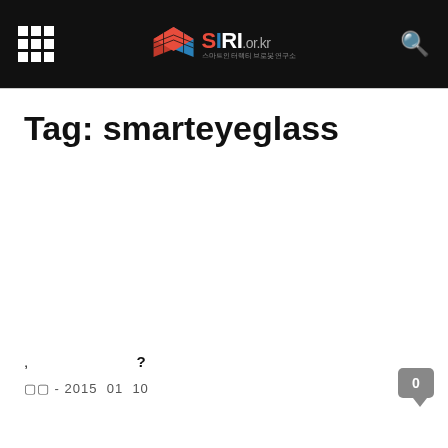SIRI.or.kr
Tag: smarteyeglass
, ?
□□ - 2015  01  10